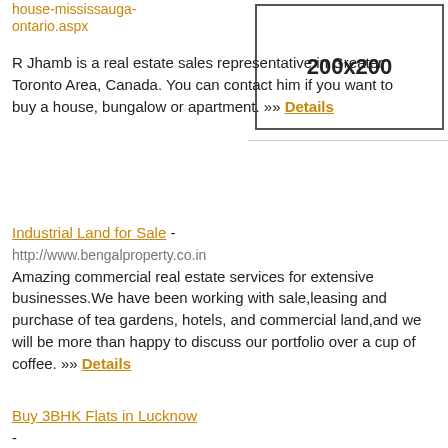house-mississauga-ontario.aspx
R Jhamb is a real estate sales representative in Greater Toronto Area, Canada. You can contact him if you want to buy a house, bungalow or apartment. »» Details
[Figure (other): 200x200 placeholder ad box]
Industrial Land for Sale - http://www.bengalproperty.co.in
Amazing commercial real estate services for extensive businesses.We have been working with sale,leasing and purchase of tea gardens, hotels, and commercial land,and we will be more than happy to discuss our portfolio over a cup of coffee. »» Details
Buy 3BHK Flats in Lucknow - http://adhikariawasyojna.org/
CSOS Officers Enclave is one of the leading residential projects that provide joint venture opportunities for residential projects »» Details